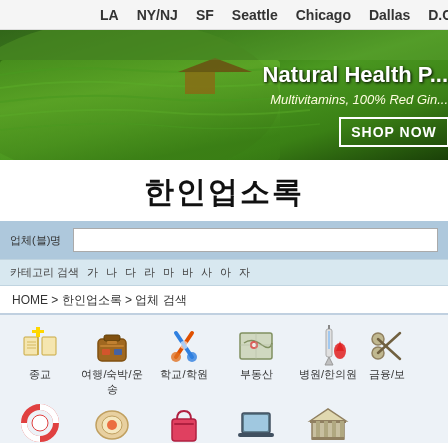LA   NY/NJ   SF   Seattle   Chicago   Dallas   D.C./Virginia
[Figure (photo): Banner image of green terraced rice fields with text overlay: Natural Health P... Multivitamins, 100% Red Gin... SHOP NOW]
한인업소록
업체(블)명 [search input]
카테고리 검색  가  나  다  라  마  바  사  아  자
HOME > 한인업소록 > 업체 검색
[Figure (screenshot): Icons grid: 종교 (religion book icon), 여행/숙박/운송 (travel suitcase icon), 학교/학원 (art/school icon), 부동산 (map/real estate icon), 병원/한의원 (medical syringe icon), 금융/보 (finance icon partially visible). Second row partial icons: lifebuoy, plate/food, shopping bags, laptop, building/bank.]